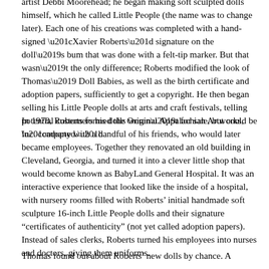artist Debbi Moorehead; he began making soft sculpted dolls himself, which he called Little People (the name was to change later). Each one of his creations was completed with a hand-signed “Xavier Roberts” signature on the doll’s bum that was done with a felt-tip marker. But that wasn’t the only difference; Roberts modified the look of Thomas’ Doll Babies, as well as the birth certificate and adoption papers, sufficiently to get a copyright. He then began selling his Little People dolls at arts and craft festivals, telling potential customers his dolls weren’t for sale, but could be “adopted.”
In 1978, Roberts formed the Original Appalachian Artworks, Inc. company with a handful of his friends, who would later became employees. Together they renovated an old building in Cleveland, Georgia, and turned it into a clever little shop that would become known as BabyLand General Hospital. It was an interactive experience that looked like the inside of a hospital, with nursery rooms filled with Roberts’ initial handmade soft sculpture 16-inch Little People dolls and their signature “certificates of authenticity” (not yet called adoption papers). Instead of sales clerks, Roberts turned his employees into nurses and doctors, giving them uniforms.
Thomas found out about Roberts’ new dolls by chance. A